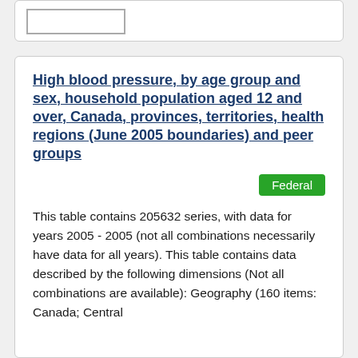High blood pressure, by age group and sex, household population aged 12 and over, Canada, provinces, territories, health regions (June 2005 boundaries) and peer groups
Federal
This table contains 205632 series, with data for years 2005 - 2005 (not all combinations necessarily have data for all years). This table contains data described by the following dimensions (Not all combinations are available): Geography (160 items: Canada; Central